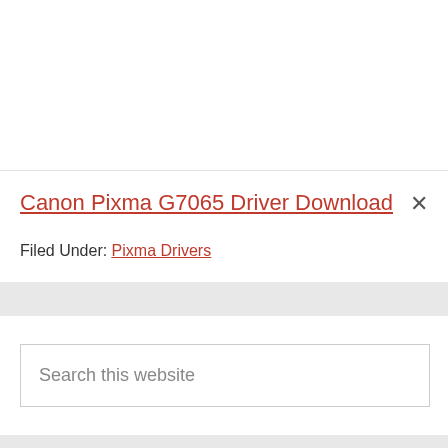Canon Pixma G7065 Driver Download
Filed Under: Pixma Drivers
Search this website